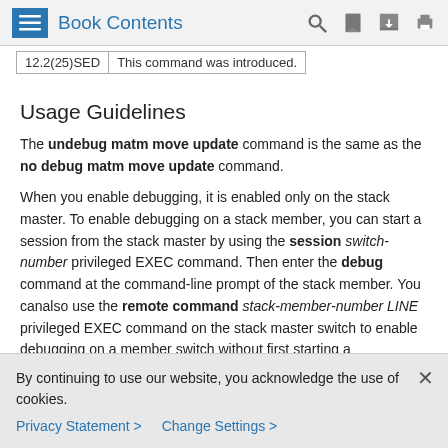Book Contents
| 12.2(25)SED | This command was introduced. |
Usage Guidelines
The undebug matm move update command is the same as the no debug matm move update command.
When you enable debugging, it is enabled only on the stack master. To enable debugging on a stack member, you can start a session from the stack master by using the session switch-number privileged EXEC command. Then enter the debug command at the command-line prompt of the stack member. You canalso use the remote command stack-member-number LINE privileged EXEC command on the stack master switch to enable debugging on a member switch without first starting a
By continuing to use our website, you acknowledge the use of cookies.
Privacy Statement > Change Settings >